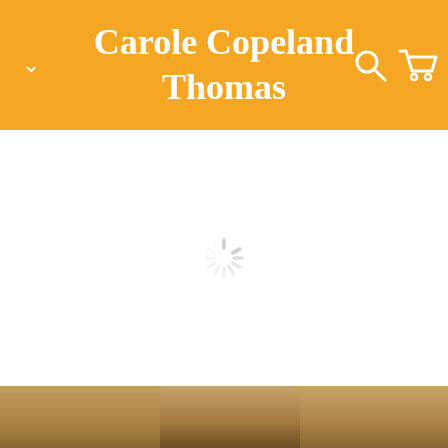Carole Copeland Thomas
[Figure (screenshot): Loading spinner (sunburst/radial progress indicator) centered on white background]
[Figure (photo): Partial photo visible at the very bottom of the page, brownish/warm tones]